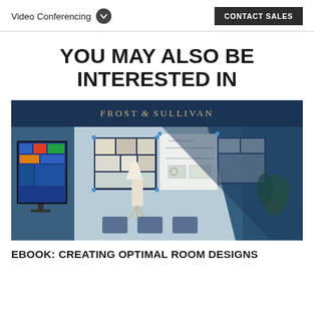Video Conferencing    CONTACT SALES
YOU MAY ALSO BE INTERESTED IN
[Figure (photo): Frost & Sullivan branded image showing a conference room with whiteboards, a mounted TV display, chairs, a lamp, and blue overlay design elements.]
EBOOK: CREATING OPTIMAL ROOM DESIGNS